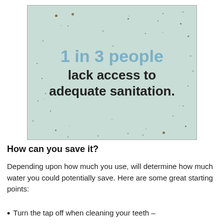[Figure (infographic): Image with speckled mint/teal background texture showing the text '1 in 3 people lack access to adequate sanitation.' in bold with '1 in 3 people' highlighted in blue.]
How can you save it?
Depending upon how much you use, will determine how much water you could potentially save. Here are some great starting points:
Turn the tap off when cleaning your teeth –